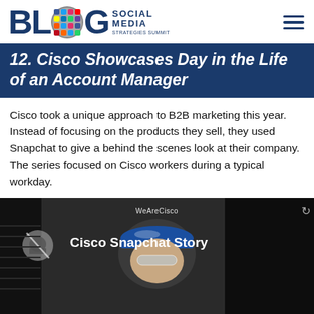Blog Social Media Strategies Summit
12. Cisco Showcases Day in the Life of an Account Manager
Cisco took a unique approach to B2B marketing this year. Instead of focusing on the products they sell, they used Snapchat to give a behind the scenes look at their company. The series focused on Cisco workers during a typical workday.
[Figure (screenshot): Screenshot of a Cisco Snapchat Story showing a worker in a blue hard hat and safety glasses. Overlay text reads 'WeAreCisco' and 'Cisco Snapchat Story'.]